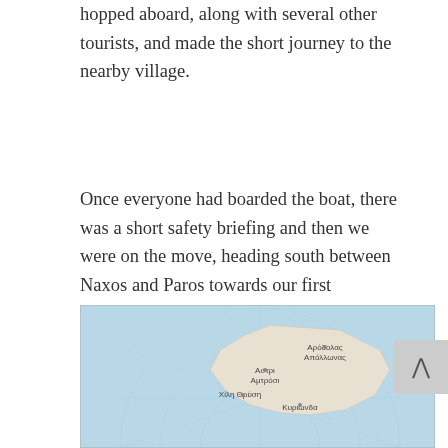hopped aboard, along with several other tourists, and made the short journey to the nearby village.
Once everyone had boarded the boat, there was a short safety briefing and then we were on the move, heading south between Naxos and Paros towards our first destination. I've never visited Iraklia before and, although I know it's pretty small and sparsely populated, I was excited to cross another island off my growing list of Greek destinations!
[Figure (map): A map showing a Greek island (Iraklia) with labeled locations including Αρόδολα Απόλλωνας, Αστρι Αμτρόσι, Χίλη Θρύση, and Κυριωνδα, displayed on a light blue sea background.]